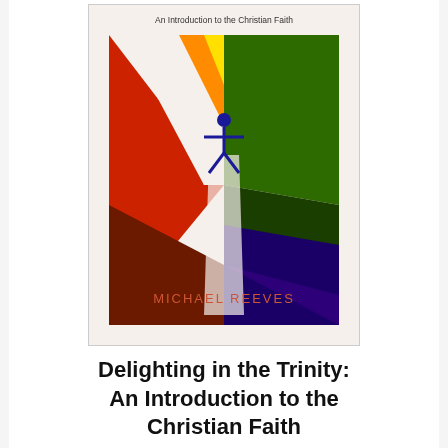[Figure (illustration): Book cover of 'Delighting in the Trinity: An Introduction to the Christian Faith' by Michael Reeves. Features abstract colorful triangular shapes in red, orange, yellow, green, and dark blue/purple radiating from center, with a blue stick figure person at the center top. Author name 'MICHAEL REEVES' appears in salmon/terracotta color at bottom. Subtitle 'An Introduction to the Christian Faith' at the top in dark text.]
Delighting in the Trinity: An Introduction to the Christian Faith
$11.69 ✓prime
Written By: Michael Reeves
This is the place to learn the Trinity. A short...